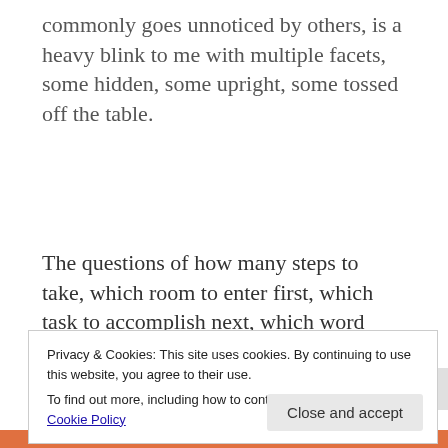commonly goes unnoticed by others, is a heavy blink to me with multiple facets, some hidden, some upright, some tossed off the table.
The questions of how many steps to take, which room to enter first, which task to accomplish next, which word choice to use, how long to linger on
Privacy & Cookies: This site uses cookies. By continuing to use this website, you agree to their use.
To find out more, including how to control cookies, see here: Cookie Policy
Close and accept